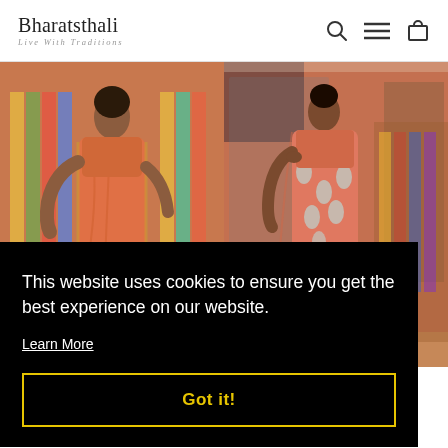Bharatsthali — Live With Traditions
[Figure (photo): Two product images side by side showing women wearing peach/orange sarees in a store setting]
This website uses cookies to ensure you get the best experience on our website.
Learn More
Got it!
ILK ESIGN
EE
INR  Save 30%
₹4,720.00 INR  ₹ 3,304.00